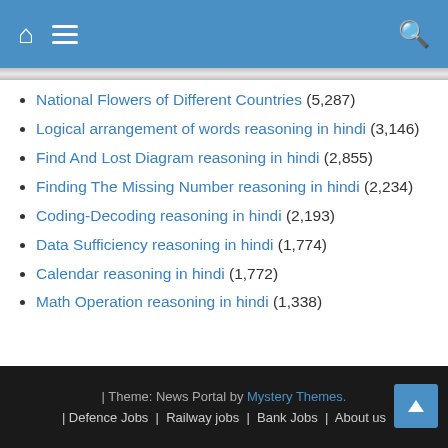Navigation header with home, menu, and search icons
National Flowers of Different Countries (5,287)
Logical arrangement of words reasoning in hindi (3,146)
Find And Lost Diagram reasoning in hindi (2,855)
Finding The Missing Number reasoning in hindi (2,234)
Coding-Decoding reasoning in hindi (2,193)
Data Sufficiency reasoning in hindi (1,774)
Calendar reasoning in hindi (1,772)
Math Operation reasoning in hindi (1,338)
| Theme: News Portal by Mystery Themes. | Defence Jobs | Railway jobs | Bank Jobs | About us